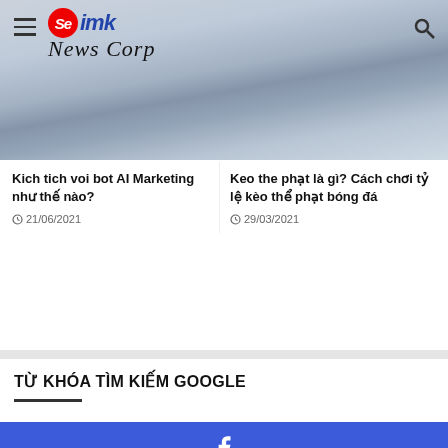[Figure (screenshot): Website header with SeIMK News Corp logo, hamburger menu, and search icon on a sky background]
Kich tich voi bot AI Marketing nhu the nao?
21/06/2021
Keo the phat la gi? Cach choi ty le keo the phat bong da
29/03/2021
TỪ KHÓA TÌM KIẾM GOOGLE
[Figure (infographic): Social share buttons: Facebook (blue), Twitter (light blue), WhatsApp (green), Telegram (dark blue), Phone (purple)]